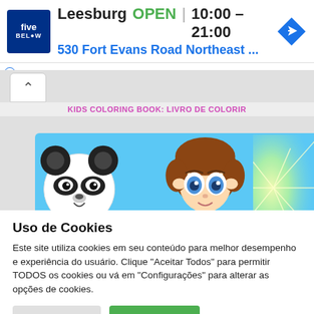[Figure (screenshot): Five Below store advertisement banner showing logo, Leesburg location, OPEN status, hours 10:00–21:00, address 530 Fort Evans Road Northeast ..., and navigation icon]
ⓘ
✕
[Figure (screenshot): App content area with chevron-up button, pink title bar reading 'KIDS COLORING BOOK: LIVRO DE COLORIR', and cartoon image with panda and anime-style character on blue background]
Uso de Cookies
Este site utiliza cookies em seu conteúdo para melhor desempenho e experiência do usuário. Clique "Aceitar Todos" para permitir TODOS os cookies ou vá em "Configurações" para alterar as opções de cookies.
Configurações   Aceitar Todos